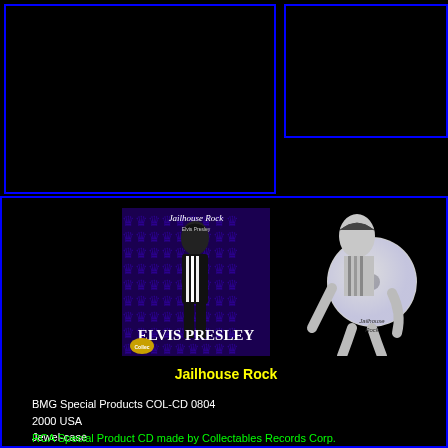[Figure (photo): Empty black rectangle with blue border in top-left area]
[Figure (photo): Empty black rectangle with blue border in top-right area]
[Figure (photo): Elvis Presley Jailhouse Rock album cover with Elvis in black and white striped shirt on purple crown pattern background]
[Figure (photo): Shaped CD of Jailhouse Rock - Elvis Presley figure shaped CD disc]
Jailhouse Rock
BMG Special Products COL-CD 0804
2000 USA
Jewel-case
1 shaped cd, 1 track, 2:10 min.
RCA Special Product CD made by Collectables Records Corp.
From the wooden box with 5 Shape CD's limited to 5000 pieces.